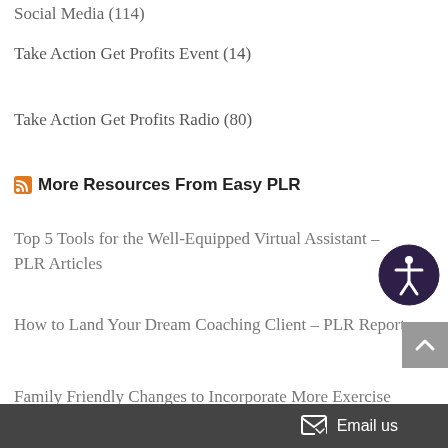Social Media (114)
Take Action Get Profits Event (14)
Take Action Get Profits Radio (80)
More Resources From Easy PLR
Top 5 Tools for the Well-Equipped Virtual Assistant – PLR Articles
How to Land Your Dream Coaching Client – PLR Report
Family Friendly Changes to Incorporate More Exercise Into Your Life – PLR Report
Email us